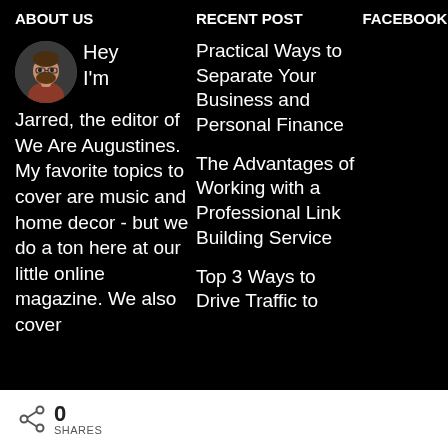ABOUT US
RECENT POST
FACEBOOK
Hey I'm Jarred, the editor of We Are Augustines. My favorite topics to cover are music and home decor - but we do a ton here at our little online magazine. We also cover
Practical Ways to Separate Your Business and Personal Finance
The Advantages of Working with a Professional Link Building Service
Top 3 Ways to Drive Traffic to
0
SHARES